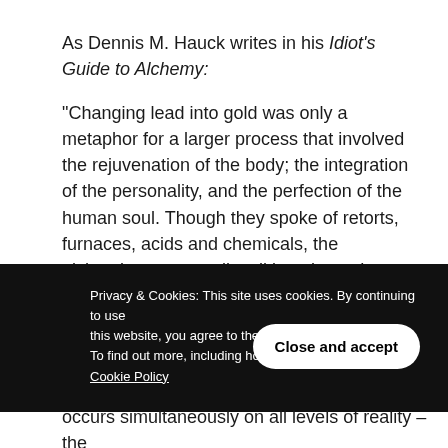As Dennis M. Hauck writes in his Idiot's Guide to Alchemy:
“Changing lead into gold was only a metaphor for a larger process that involved the rejuvenation of the body; the integration of the personality, and the perfection of the human soul. Though they spoke of retorts, furnaces, acids and chemicals, the alchemists were really talking about changes taking place in their own bodies, minds, and
Privacy & Cookies: This site uses cookies. By continuing to use this website, you agree to their use.
To find out more, including how to cont… Cookie Policy
occurs simultaneously on all levels of reality – the